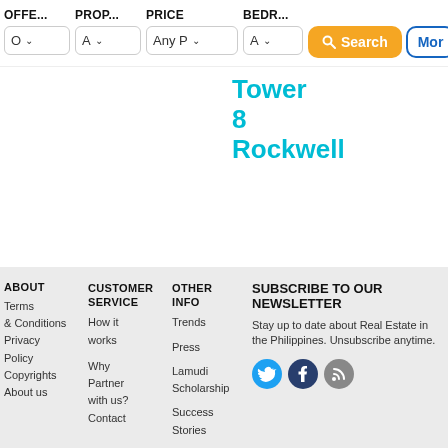OFFE... PROP... PRICE BEDR... Search More
Tower 8 Rockwell
ABOUT | CUSTOMER SERVICE | OTHER INFO | SUBSCRIBE TO OUR NEWSLETTER
Terms & Conditions | How it works | Trends | Stay up to date about Real Estate in the Philippines. Unsubscribe anytime.
Privacy Policy | Why Partner with us? | Press | 
Copyrights | Contact | Lamudi Scholarship | 
About us | | Success Stories |